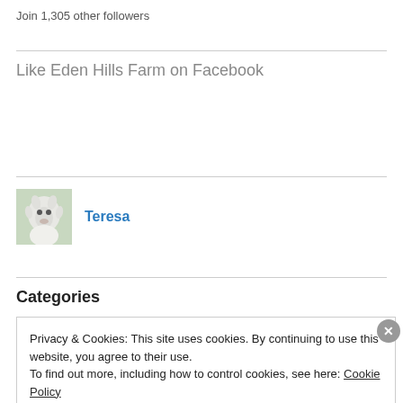Join 1,305 other followers
Like Eden Hills Farm on Facebook
Teresa
Categories
Privacy & Cookies: This site uses cookies. By continuing to use this website, you agree to their use.
To find out more, including how to control cookies, see here: Cookie Policy
Close and accept